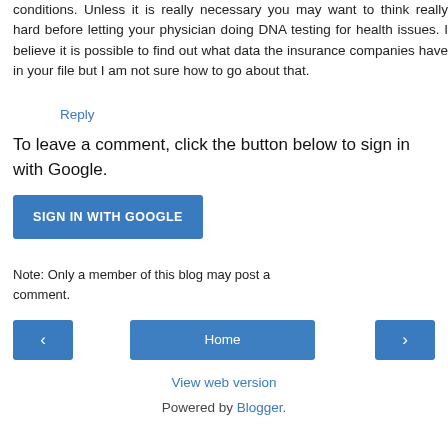conditions. Unless it is really necessary you may want to think really hard before letting your physician doing DNA testing for health issues. I believe it is possible to find out what data the insurance companies have in your file but I am not sure how to go about that.
Reply
To leave a comment, click the button below to sign in with Google.
SIGN IN WITH GOOGLE
Note: Only a member of this blog may post a comment.
‹
Home
›
View web version
Powered by Blogger.